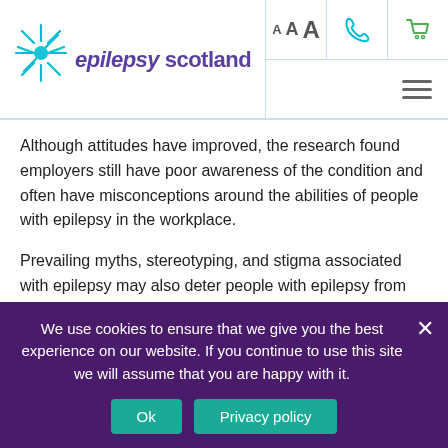[Figure (logo): Epilepsy Scotland logo with teal star burst and purple italic/bold text]
Although attitudes have improved, the research found employers still have poor awareness of the condition and often have misconceptions around the abilities of people with epilepsy in the workplace.
Prevailing myths, stereotyping, and stigma associated with epilepsy may also deter people with epilepsy from disclosing their condition to their employer and benefiting from reasonable adjustments. To read the
We use cookies to ensure that we give you the best experience on our website. If you continue to use this site we will assume that you are happy with it.